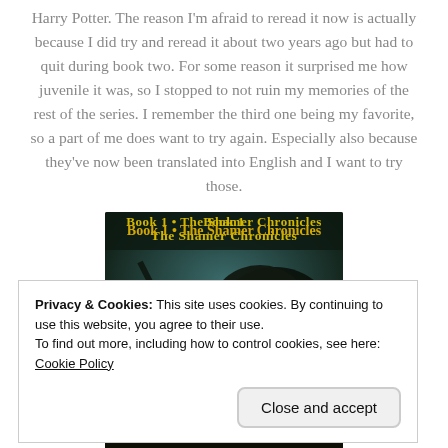Harry Potter. The reason I'm afraid to reread it now is actually because I did try and reread it about two years ago but had to quit during book two. For some reason it surprised me how juvenile it was, so I stopped to not ruin my memories of the rest of the series. I remember the third one being my favorite, so a part of me does want to try again. Especially also because they've now been translated into English and I want to try those.
[Figure (photo): Book cover image showing 'Book 1 • The Shamer Chronicles' with a dark fantasy illustration featuring a dark creature with glowing eyes against a teal/dark background]
Privacy & Cookies: This site uses cookies. By continuing to use this website, you agree to their use.
To find out more, including how to control cookies, see here: Cookie Policy
Close and accept
[Figure (photo): Bottom portion of a book cover showing yellow/gold text that appears to read 'DAUGHTER' on a dark background]